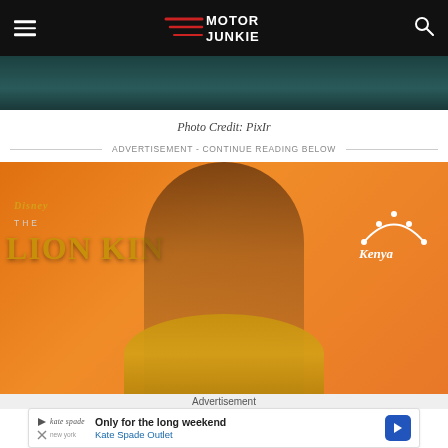Motor Junkie
[Figure (photo): Top portion of an image, showing dark teal/green background, cropped at top of page]
Photo Credit: PixIr
ADVERTISEMENT - CONTINUE READING BELOW
[Figure (photo): Woman in a gold dress smiling at The Lion King Disney premiere on an orange background with Disney The Lion King and Visit Kenya logos visible]
Advertisement
[Figure (infographic): Kate Spade Outlet advertisement banner: 'Only for the long weekend' with Kate Spade logo and navigation arrow]